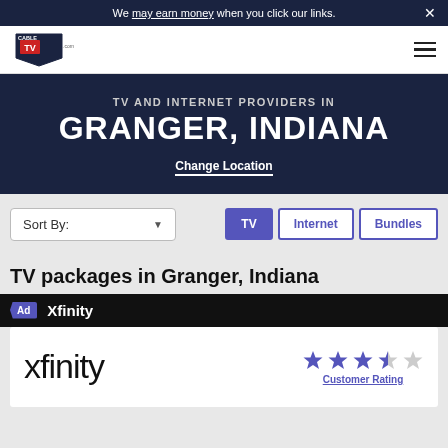We may earn money when you click our links.
[Figure (logo): CableTV.com logo — shield shape with CABLE TV text]
TV AND INTERNET PROVIDERS IN GRANGER, INDIANA
Change Location
Sort By:
TV  Internet  Bundles
TV packages in Granger, Indiana
Ad  Xfinity
[Figure (logo): Xfinity logo in large black text with star rating (3.5 out of 5 stars) and Customer Rating link]